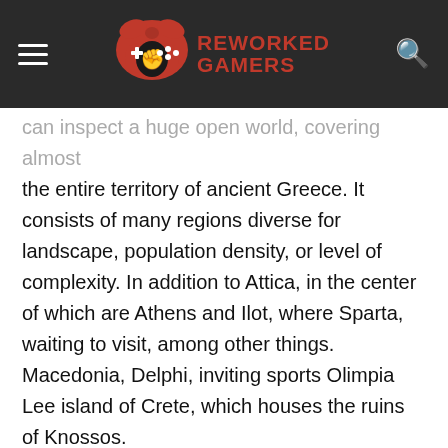REWORKED GAMERS
...the entire territory of ancient Greece. It consists of many regions diverse for landscape, population density, or level of complexity. In addition to Attica, in the center of which are Athens and Ilot, where Sparta, waiting to visit, among other things. Macedonia, Delphi, inviting sports Olimpia Lee island of Crete, which houses the ruins of Knossos.
After this “sandbox” we can travel both on the back of the horse, as well as on foot. Which makes the parkouru system, which is the hallmark of the series. Thanks to which you can effectively and effectively overcome obstacles. In addition, the game returns to Maritime navigation, imitating